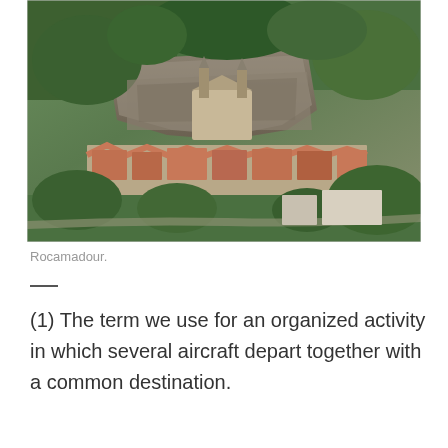[Figure (photo): Aerial photograph of Rocamadour, France, showing the medieval village and sanctuary built into a cliff face surrounded by green trees and stone buildings.]
Rocamadour.
(1) The term we use for an organized activity in which several aircraft depart together with a common destination.